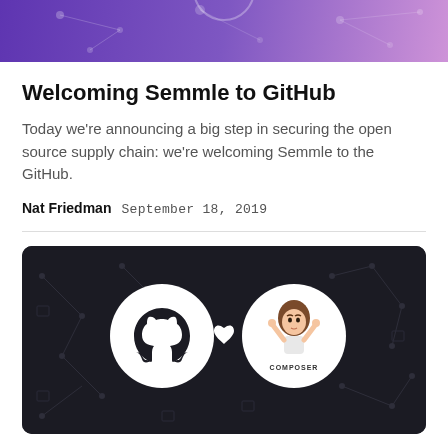[Figure (illustration): Top banner with purple/violet gradient background and decorative network/graph pattern overlay]
Welcoming Semmle to GitHub
Today we're announcing a big step in securing the open source supply chain: we're welcoming Semmle to the GitHub.
Nat Friedman   September 18, 2019
[Figure (illustration): Dark background image with network graph pattern. GitHub Octocat logo (white circle with black cat) on the left, a white heart symbol in the center, and a circular Semmle/Composer logo (cartoon woman with raised arms) on the right. Label 'COMPOSER' appears under the right logo.]